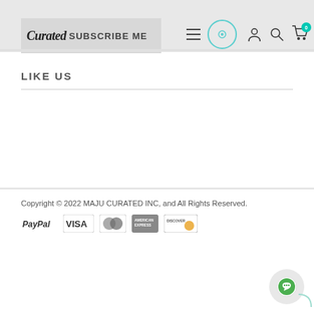[Figure (screenshot): Website header/navigation bar with Maju Curated logo, Subscribe Me button, hamburger menu, teal circular icon, user icon, search icon, and cart icon with badge showing 0]
LIKE US
Copyright © 2022 MAJU CURATED INC, and All Rights Reserved.
[Figure (logo): Payment method icons: PayPal, Visa, Mastercard, American Express, Discover]
[Figure (other): Green chat bubble button in bottom right corner]